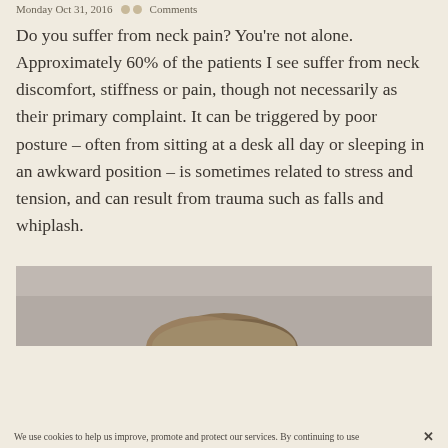Monday Oct 31, 2016   Comments
Do you suffer from neck pain? You're not alone. Approximately 60% of the patients I see suffer from neck discomfort, stiffness or pain, though not necessarily as their primary complaint. It can be triggered by poor posture – often from sitting at a desk all day or sleeping in an awkward position – is sometimes related to stress and tension, and can result from trauma such as falls and whiplash.
[Figure (photo): Partial photo of a person's head showing hair, with a grey/mauve background, cropped at the top of frame]
We use cookies to help us improve, promote and protect our services. By continuing to use